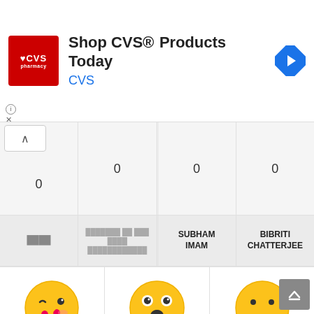[Figure (screenshot): CVS Pharmacy ad banner with logo, text 'Shop CVS® Products Today', 'CVS' in blue, and a blue navigation icon on the right]
| Col1 | Col2 | Col3 | Col4 |
| --- | --- | --- | --- |
| 0 (with caret button) | 0 | 0 | 0 |
| [text in non-Latin script] | [text in non-Latin script] | SUBHAM IMAM | BIBRITI CHATTERJEE |
[Figure (screenshot): Three emoji faces: kissing face with heart, shocked face, and neutral face]
| CUTE | OMG | WTF |
| --- | --- | --- |
| 0 | 0 | 0 |